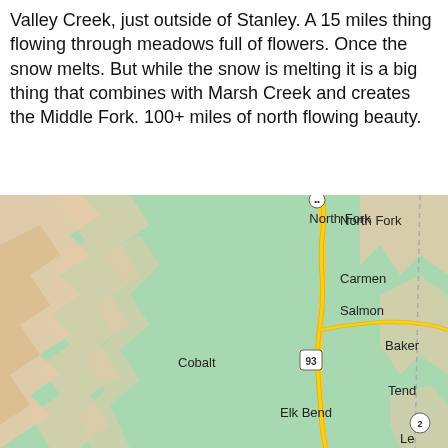Valley Creek, just outside of Stanley. A 15 miles thing flowing through meadows full of flowers. Once the snow melts. But while the snow is melting it is a big thing that combines with Marsh Creek and creates the Middle Fork. 100+ miles of north flowing beauty.
[Figure (map): Topographic road map showing the Salmon River area in Idaho, including towns: North Fork, Carmen, Salmon, Baker, Cobalt, Elk Bend, Tend(er), and route 93. Map features green forested/mountainous terrain with tan/beige rocky areas and a yellow highway running north-south.]